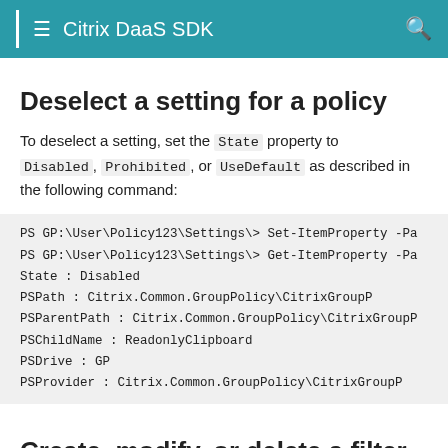Citrix DaaS SDK
Deselect a setting for a policy
To deselect a setting, set the State property to Disabled, Prohibited, or UseDefault as described in the following command:
PS GP:\User\Policy123\Settings\> Set-ItemProperty -Pa
PS GP:\User\Policy123\Settings\> Get-ItemProperty -Pa
State           : Disabled
PSPath          : Citrix.Common.GroupPolicy\CitrixGroupP
PSParentPath    : Citrix.Common.GroupPolicy\CitrixGroupP
PSChildName     : ReadonlyClipboard
PSDrive         : GP
PSProvider      : Citrix.Common.GroupPolicy\CitrixGroupP
Create, modify, or delete a filter for a